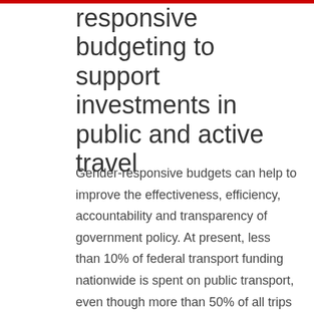responsive budgeting to support investments in public and active travel
Gender-responsive budgets can help to improve the effectiveness, efficiency, accountability and transparency of government policy. At present, less than 10% of federal transport funding nationwide is spent on public transport, even though more than 50% of all trips are completed that way. This does not necessarily require an increase in the overall transport budget, but rather a